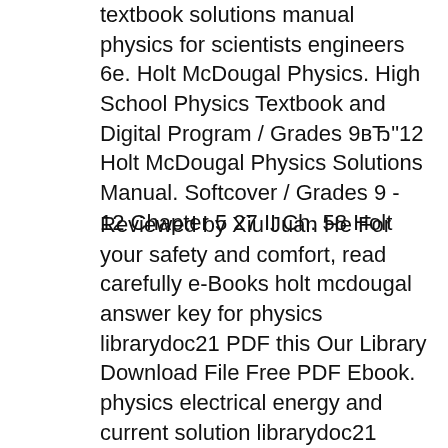textbook solutions manual physics for scientists engineers 6e. Holt McDougal Physics. High School Physics Textbook and Digital Program / Grades 9вЂ"12 Holt McDougal Physics Solutions Manual. Softcover / Grades 9 - 12 Chapter 5 27 II Ch. 58 Holt
Reviewed by Xiu Juan He For your safety and comfort, read carefully e-Books holt mcdougal answer key for physics librarydoc21 PDF this Our Library Download File Free PDF Ebook. physics electrical energy and current solution librarydoc21 PDF, include : Holt Mcdougal Grammar Grade 9 Answer Key Free 2 Librarydoc21, Holt Physics Student Solution Guide Librarydoc21,